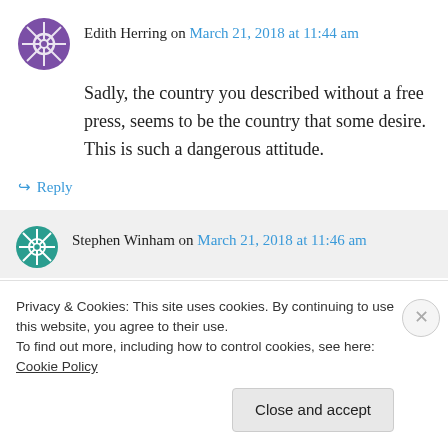Edith Herring on March 21, 2018 at 11:44 am
Sadly, the country you described without a free press, seems to be the country that some desire. This is such a dangerous attitude.
↪ Reply
Stephen Winham on March 21, 2018 at 11:46 am
Privacy & Cookies: This site uses cookies. By continuing to use this website, you agree to their use. To find out more, including how to control cookies, see here: Cookie Policy
Close and accept